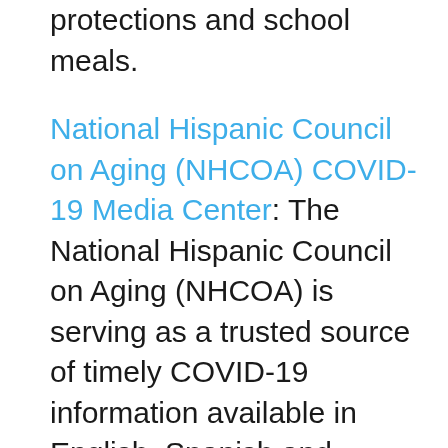protections and school meals.
National Hispanic Council on Aging (NHCOA) COVID-19 Media Center: The National Hispanic Council on Aging (NHCOA) is serving as a trusted source of timely COVID-19 information available in English, Spanish and Portuguese. Nutritional support services and housing financial stipends are also offered.  The organization is also informed on the most